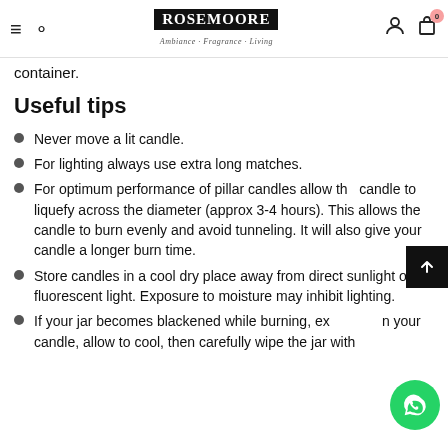ROSeMOORe — Ambience · Fragrance · Living
container.
Useful tips
Never move a lit candle.
For lighting always use extra long matches.
For optimum performance of pillar candles allow the candle to liquefy across the diameter (approx 3-4 hours). This allows the candle to burn evenly and avoid tunneling. It will also give your candle a longer burn time.
Store candles in a cool dry place away from direct sunlight or fluorescent light. Exposure to moisture may inhibit lighting.
If your jar becomes blackened while burning, ex... your candle, allow to cool, then carefully wipe the jar with